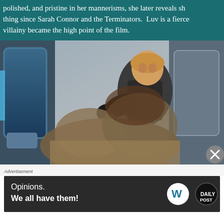polished, and pristine in her mannerisms, she later reveals sh thing since Sarah Connor and the Terminators. Luv is a fierce villainy became the high point of the film.
[Figure (photo): A fight scene from a sci-fi film showing a blonde woman in dark tactical armor punching or striking a brown-haired man, set in a white futuristic corridor with blue-lit door panels.]
Advertisement
[Figure (other): Advertisement banner with dark background reading 'Opinions. We all have them!' with WordPress logo and Daily Post logo.]